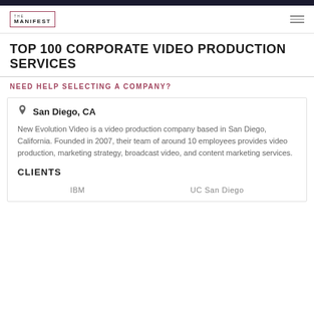THE MANIFEST
TOP 100 CORPORATE VIDEO PRODUCTION SERVICES
NEED HELP SELECTING A COMPANY?
San Diego, CA
New Evolution Video is a video production company based in San Diego, California. Founded in 2007, their team of around 10 employees provides video production, marketing strategy, broadcast video, and content marketing services.
CLIENTS
IBM    UC San Diego